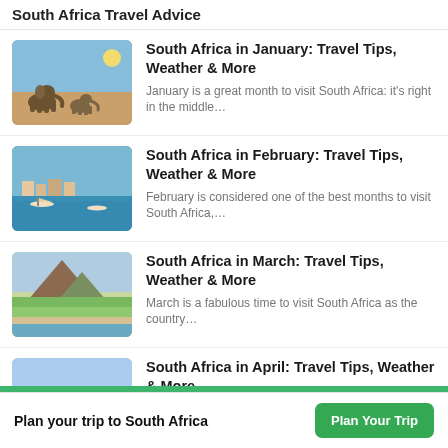South Africa Travel Advice
South Africa in January: Travel Tips, Weather & More
January is a great month to visit South Africa: it's right in the middle....
South Africa in February: Travel Tips, Weather & More
February is considered one of the best months to visit South Africa,...
South Africa in March: Travel Tips, Weather & More
March is a fabulous time to visit South Africa as the country....
South Africa in April: Travel Tips, Weather & More
By late April, the crowds have disappeared, and fall is here, with warm,...
South Africa in May: Travel Tips, Weather & More
Plan your trip to South Africa
Plan Your Trip